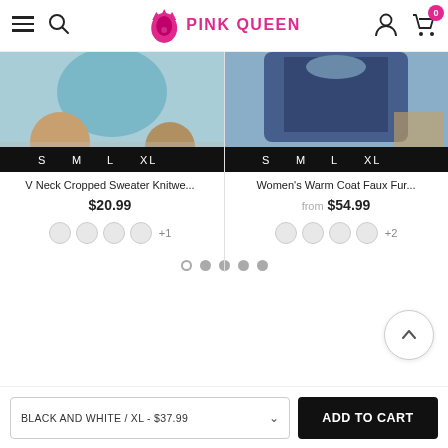PINK QUEEN
[Figure (photo): Left product: V Neck Cropped Sweater Knitwear product image with size bar showing S M L XL]
[Figure (photo): Right product: Women's Warm Coat Faux Fur product image with size bar showing S M L XL]
V Neck Cropped Sweater Knitwe ...
$20.99
Women's Warm Coat Faux Fur...
from $54.99
+ 1
+ 2
BLACK AND WHITE / XL - $37.99
ADD TO CART